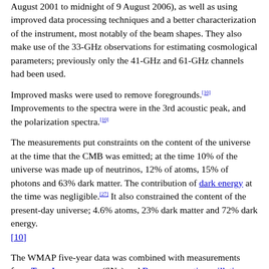August 2001 to midnight of 9 August 2006), as well as using improved data processing techniques and a better characterization of the instrument, most notably of the beam shapes. They also make use of the 33-GHz observations for estimating cosmological parameters; previously only the 41-GHz and 61-GHz channels had been used.
Improved masks were used to remove foregrounds.[10] Improvements to the spectra were in the 3rd acoustic peak, and the polarization spectra.[10]
The measurements put constraints on the content of the universe at the time that the CMB was emitted; at the time 10% of the universe was made up of neutrinos, 12% of atoms, 15% of photons and 63% dark matter. The contribution of dark energy at the time was negligible.[27] It also constrained the content of the present-day universe; 4.6% atoms, 23% dark matter and 72% dark energy.[10]
The WMAP five-year data was combined with measurements from Type Ia supernova (SNe) and Baryon acoustic oscillations (BAO).[10]
The elliptical shape of the WMAP skymap is the result of a Mollweide projection.[28]